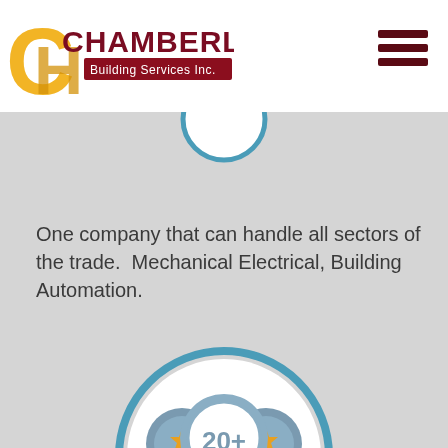[Figure (logo): Chamberlain Building Services Inc. logo with stylized CH letters in gold/yellow and company name in dark red]
[Figure (other): Hamburger menu icon with three dark red horizontal lines]
[Figure (other): Partial circle with teal/blue ring border, top portion visible]
One company that can handle all sectors of the trade.  Mechanical Electrical, Building Automation.
[Figure (infographic): Award/medal infographic inside a teal circle: three overlapping badge/ribbon icons in grey-blue with gold stars, center badge shows '20+' text]